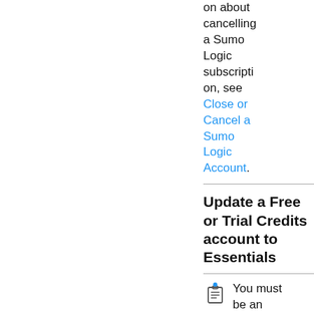on about cancelling a Sumo Logic subscription, see Close or Cancel a Sumo Logic Account.
Update a Free or Trial Credits account to Essentials
You must be an admin to upgrade.